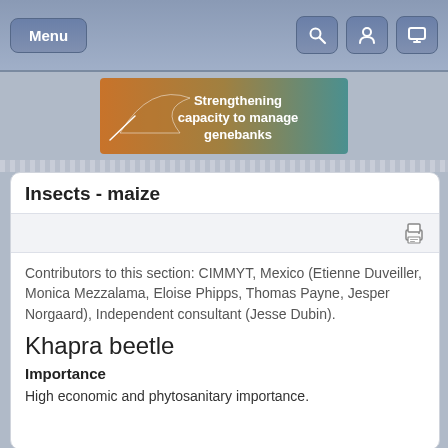[Figure (screenshot): Navigation bar with Menu button on left and search, profile, monitor icons on right, on blue-grey gradient background]
[Figure (illustration): Banner image with orange-to-teal gradient and text 'Strengthening capacity to manage genebanks' with decorative leaf/arrow graphic]
Insects - maize
Contributors to this section: CIMMYT, Mexico (Etienne Duveiller, Monica Mezzalama, Eloise Phipps, Thomas Payne, Jesper Norgaard), Independent consultant (Jesse Dubin).
Khapra beetle
Importance
High economic and phytosanitary importance.